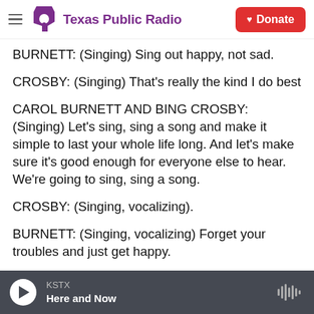Texas Public Radio | Donate
BURNETT: (Singing) Sing out happy, not sad.
CROSBY: (Singing) That's really the kind I do best
CAROL BURNETT AND BING CROSBY: (Singing) Let's sing, sing a song and make it simple to last your whole life long. And let's make sure it's good enough for everyone else to hear. We're going to sing, sing a song.
CROSBY: (Singing, vocalizing).
BURNETT: (Singing, vocalizing) Forget your troubles and just get happy.
KSTX | Here and Now